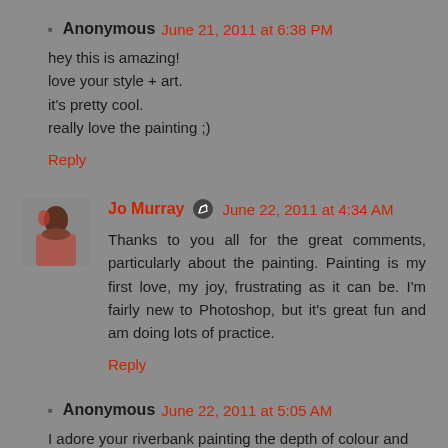Anonymous June 21, 2011 at 6:38 PM
hey this is amazing!
love your style + art.
it's pretty cool.
really love the painting ;)
Reply
Jo Murray June 22, 2011 at 4:34 AM
Thanks to you all for the great comments, particularly about the painting. Painting is my first love, my joy, frustrating as it can be. I'm fairly new to Photoshop, but it's great fun and am doing lots of practice.
Reply
Anonymous June 22, 2011 at 5:05 AM
I adore your riverbank painting the depth of colour and